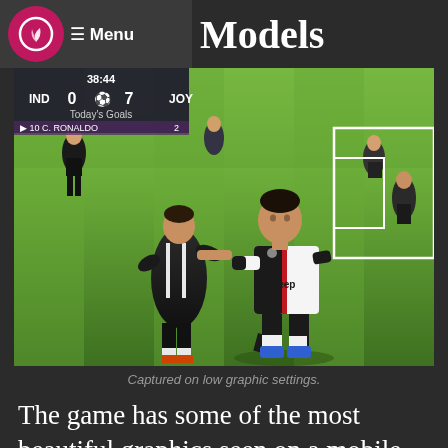Models — Menu
[Figure (screenshot): Mobile soccer game screenshot showing Cristiano Ronaldo celebrating a goal in Juventus black-and-white jersey on a green pitch. HUD shows score IND 0 vs JOY 7, time 38:44, Today's Goals: 10 C. RONALDO 2.]
Captured on low graphic settings.
The game has some of the most beautiful graphics seen on a mobile